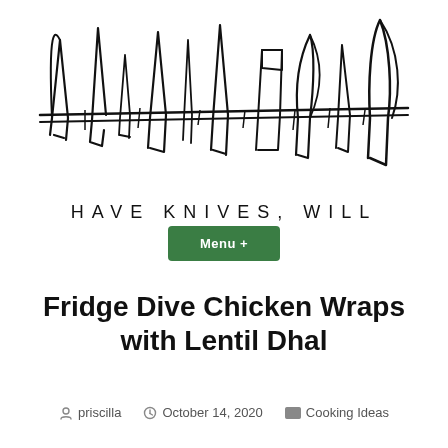[Figure (logo): Hand-drawn knives arranged on a horizontal line forming the logo for 'Have Knives, Will Cook' blog]
HAVE KNIVES, WILL COOK
Menu +
Fridge Dive Chicken Wraps with Lentil Dhal
priscilla  October 14, 2020  Cooking Ideas